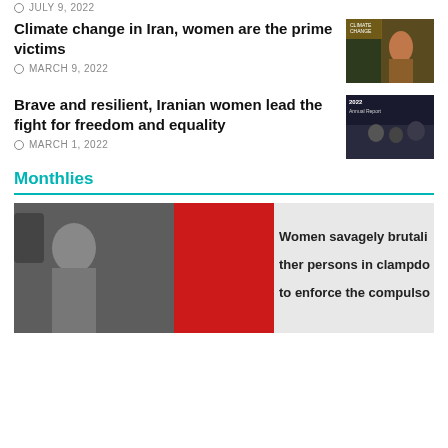JULY 9, 2022
Climate change in Iran, women are the prime victims
MARCH 9, 2022
Brave and resilient, Iranian women lead the fight for freedom and equality
MARCH 1, 2022
Monthlies
[Figure (photo): Magazine/monthly cover image showing a woman at a bus window on the left (black and white), a red panel in the middle, and text on the right reading 'Women savagely brutalized, their persons in clampdown to enforce the compulso...']